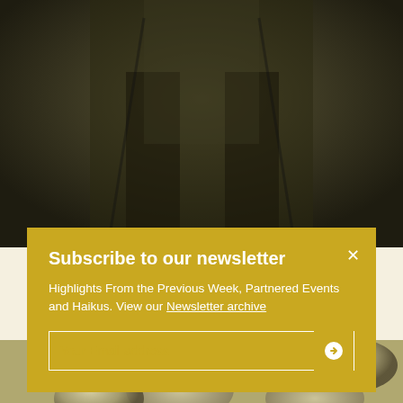[Figure (photo): Grayscale photo of a person in a dark jacket, cropped to show torso/hands, with sepia/olive tint overlay. Upper portion of page.]
Subscribe to our newsletter
Highlights From the Previous Week, Partnered Events and Haikus. View our Newsletter archive
[Figure (photo): Grayscale/sepia photo of shiny metallic oval/pebble-shaped objects grouped together, lower portion of page.]